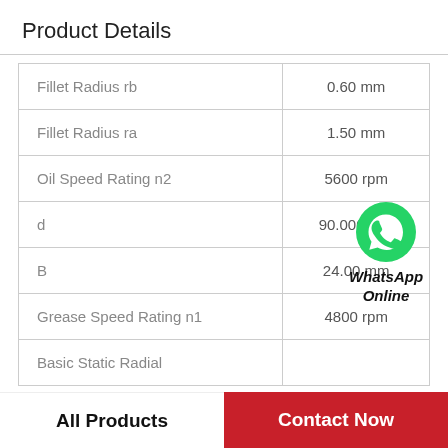Product Details
| Property | Value |
| --- | --- |
| Fillet Radius rb | 0.60 mm |
| Fillet Radius ra | 1.50 mm |
| Oil Speed Rating n2 | 5600 rpm |
| d | 90.000 mm |
| B | 24.00 mm |
| Grease Speed Rating n1 | 4800 rpm |
| Basic Static Radial |  |
[Figure (logo): WhatsApp green icon with phone symbol, labeled 'WhatsApp Online' in bold italic text]
All Products
Contact Now